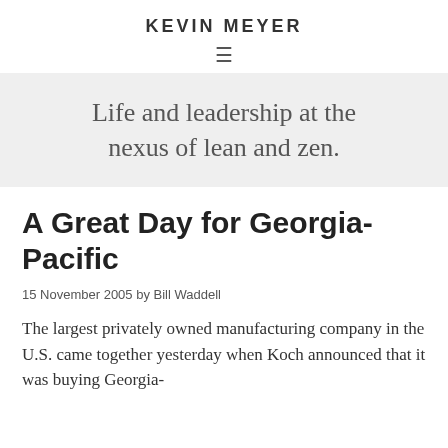KEVIN MEYER
Life and leadership at the nexus of lean and zen.
A Great Day for Georgia-Pacific
15 November 2005 by Bill Waddell
The largest privately owned manufacturing company in the U.S. came together yesterday when Koch announced that it was buying Georgia-